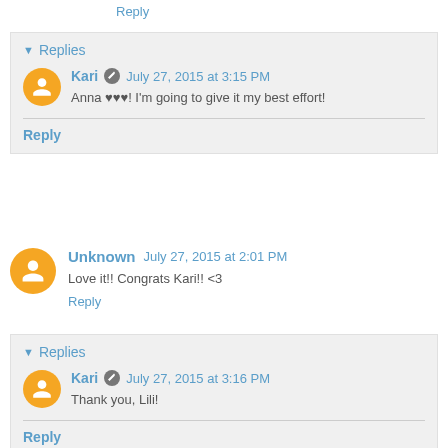Reply
Replies
Kari  July 27, 2015 at 3:15 PM
Anna ♥♥♥! I'm going to give it my best effort!
Reply
Unknown  July 27, 2015 at 2:01 PM
Love it!! Congrats Kari!! <3
Reply
Replies
Kari  July 27, 2015 at 3:16 PM
Thank you, Lili!
Reply